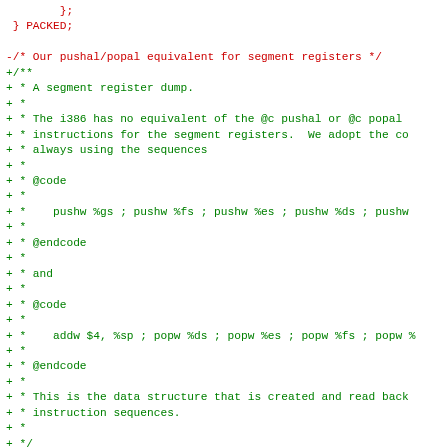Code diff showing struct definition and doxygen comment for i386 segment registers push/pop equivalent